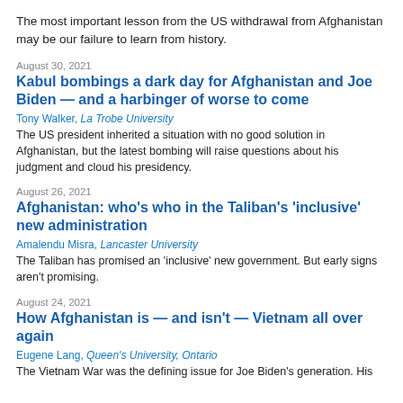The most important lesson from the US withdrawal from Afghanistan may be our failure to learn from history.
August 30, 2021
Kabul bombings a dark day for Afghanistan and Joe Biden — and a harbinger of worse to come
Tony Walker, La Trobe University
The US president inherited a situation with no good solution in Afghanistan, but the latest bombing will raise questions about his judgment and cloud his presidency.
August 26, 2021
Afghanistan: who's who in the Taliban's 'inclusive' new administration
Amalendu Misra, Lancaster University
The Taliban has promised an 'inclusive' new government. But early signs aren't promising.
August 24, 2021
How Afghanistan is — and isn't — Vietnam all over again
Eugene Lang, Queen's University, Ontario
The Vietnam War was the defining issue for Joe Biden's generation. His